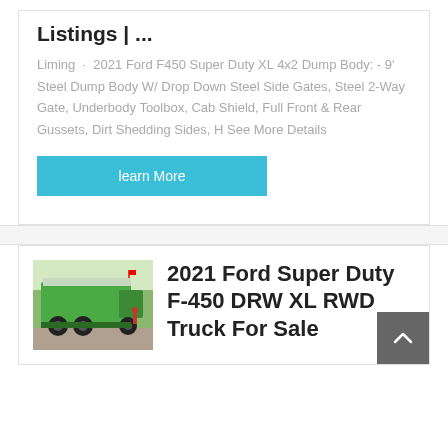Listings | ...
Liming · 2021 Ford F450 Super Duty XL 4x2 Dump Body: - 9' Steel Dump Body W/ Drop Down Steel Side Gates, Steel 2-Way Gate, Underbody Toolbox, Cab Shield, Full Front & Rear Gussets, Dirt Shedding Sides, H See More Details
learn More
[Figure (photo): Rear view of a green dump truck with covered bed, outdoors with trees and people in background]
2021 Ford Super Duty F-450 DRW XL RWD Truck For Sale